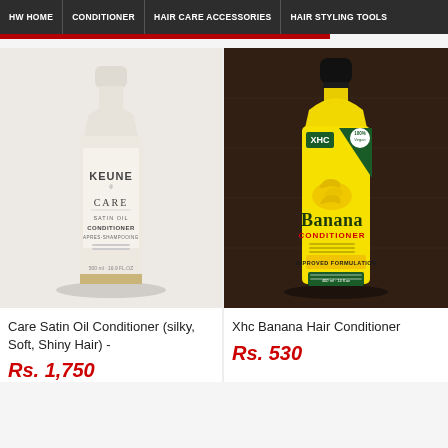HW HOME | CONDITIONER | HAIR CARE ACCESSORIES | HAIR STYLING TOOLS
[Figure (photo): Keune Care Satin Oil Conditioner bottle, white bottle with gold band at base, label reads KEUNE CARE SATIN OIL CONDITIONER APRES-SHAMPOOING 500ml]
[Figure (photo): XHC Banana Hair Conditioner yellow bottle with black cap on dark brown background, Vegan label, 400ml]
Care Satin Oil Conditioner (silky, Soft, Shiny Hair) -
Xhc Banana Hair Conditioner
Rs. 1,750
Rs. 530